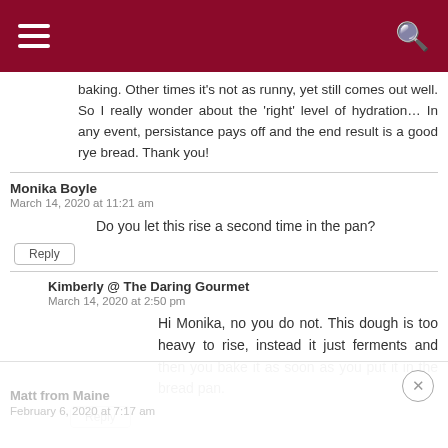Navigation header bar with hamburger menu and search icon
baking. Other times it's not as runny, yet still comes out well. So I really wonder about the 'right' level of hydration… In any event, persistance pays off and the end result is a good rye bread. Thank you!
Monika Boyle
March 14, 2020 at 11:21 am
Do you let this rise a second time in the pan?
Kimberly @ The Daring Gourmet
March 14, 2020 at 2:50 pm
Hi Monika, no you do not. This dough is too heavy to rise, instead it just ferments and then you bake it as soon as you put it in the bread pan.
Matt from Maine
February 6, 2020 at 7:17 am